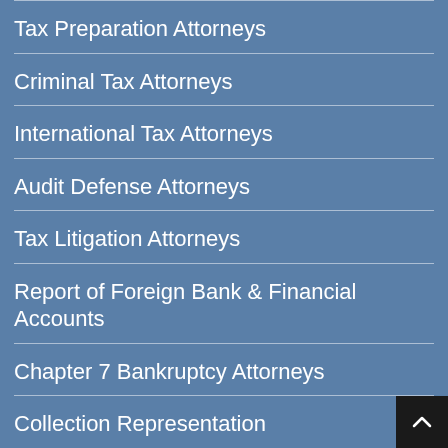Tax Preparation Attorneys
Criminal Tax Attorneys
International Tax Attorneys
Audit Defense Attorneys
Tax Litigation Attorneys
Report of Foreign Bank & Financial Accounts
Chapter 7 Bankruptcy Attorneys
Collection Representation
Tax Planning Attorneys
Cryptocurrency Attorney & Representation